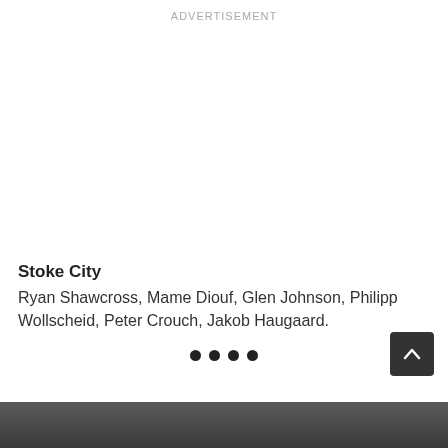ADVERTISEMENT
Stoke City
Ryan Shawcross, Mame Diouf, Glen Johnson, Philipp Wollscheid, Peter Crouch, Jakob Haugaard.
[Figure (other): Bottom image strip showing partial photo]
[Figure (other): Back to top button with upward chevron arrow]